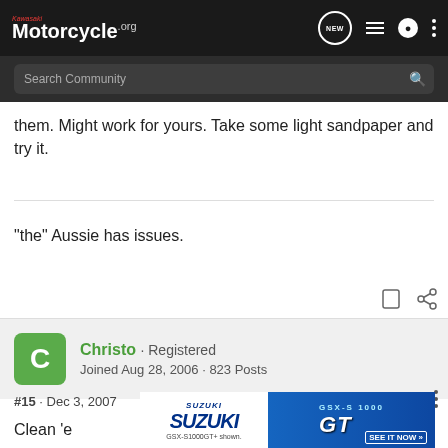Kawasaki Motorcycle.org
them. Might work for yours. Take some light sandpaper and try it.
"the" Aussie has issues.
Christo · Registered
Joined Aug 28, 2006 · 823 Posts
#15 · Dec 3, 2007
Clean 'e... d of the